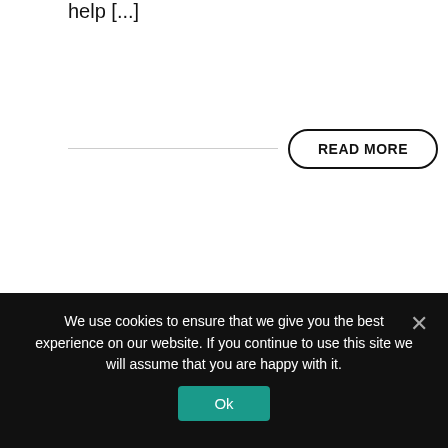help [...]
READ MORE
Increase to HM Land Registry fees
January 12, 2022 / in Property Law / by carolyn halsworth
We use cookies to ensure that we give you the best experience on our website. If you continue to use this site we will assume that you are happy with it.
Ok